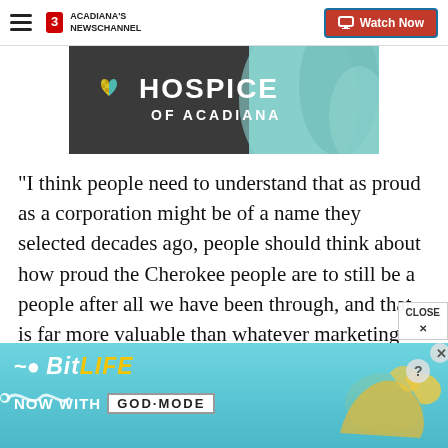Acadiana's Newschannel — Watch Now
[Figure (photo): Hospice of Acadiana advertisement banner showing logo with teal/yellow heart and fabric background]
“I think people need to understand that as proud as a corporation might be of a name they selected decades ago, people should think about how proud the Cherokee people are to still be a people after all we have been through, and that is far more valuable than whatever marketing research might show the Cherokee name has been to Jeep and its parent companies ov…
[Figure (advertisement): BitLife — Now with GOD MODE advertisement banner with teal background and hand/finger illustration]